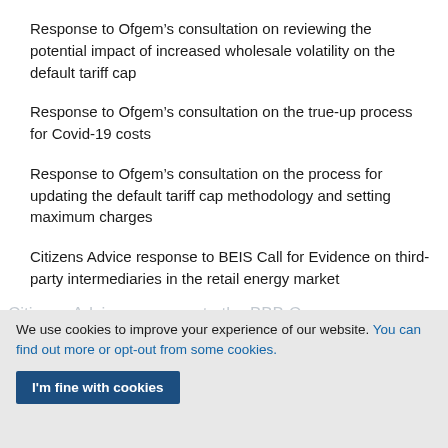Response to Ofgem’s consultation on reviewing the potential impact of increased wholesale volatility on the default tariff cap
Response to Ofgem’s consultation on the true-up process for Covid-19 costs
Response to Ofgem’s consultation on the process for updating the default tariff cap methodology and setting maximum charges
Citizens Advice response to BEIS Call for Evidence on third-party intermediaries in the retail energy market
We use cookies to improve your experience of our website. You can find out more or opt-out from some cookies.